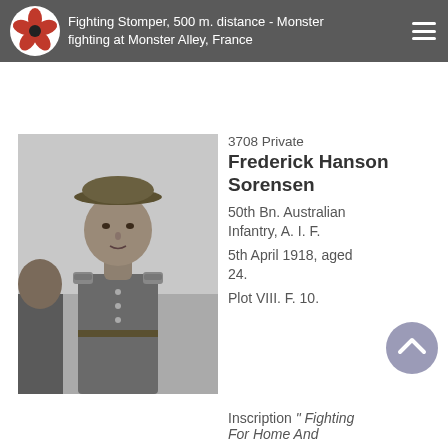Fighting Stomper, 500 m. distance - Monster fighting at Monster Alley, France
[Figure (photo): Black and white portrait photograph of Private Frederick Hanson Sorensen in Australian military uniform with hat]
3708 Private Frederick Hanson Sorensen
50th Bn. Australian Infantry, A. I. F.
5th April 1918, aged 24.
Plot VIII. F. 10.
Inscription " Fighting For Home And